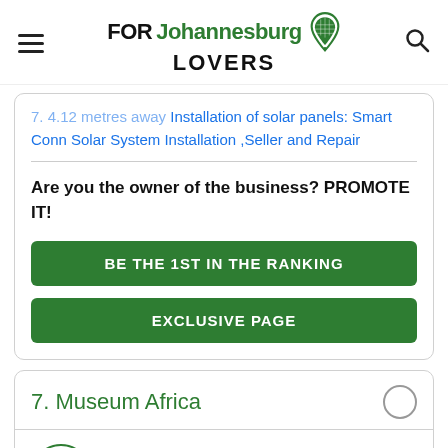FOR Johannesburg LOVERS
Installation of solar panels: Smart Conn Solar System Installation ,Seller and Repair
Are you the owner of the business? PROMOTE IT!
BE THE 1ST IN THE RANKING
EXCLUSIVE PAGE
7. Museum Africa
4 stars, 466 reviews